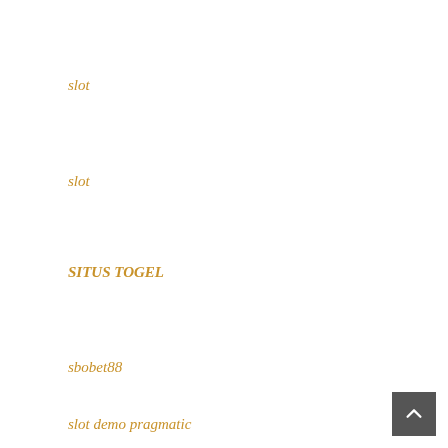slot
slot
SITUS TOGEL
sbobet88
slot demo pragmatic